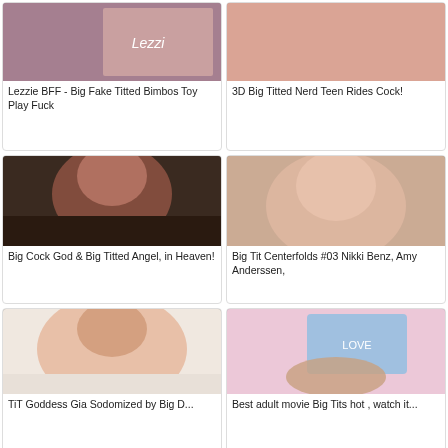[Figure (photo): Thumbnail image for Lezzie BFF video]
Lezzie BFF - Big Fake Titted Bimbos Toy Play Fuck
[Figure (photo): Thumbnail image for 3D Big Titted Nerd Teen video]
3D Big Titted Nerd Teen Rides Cock!
[Figure (photo): Thumbnail image for Big Cock God video]
Big Cock God & Big Titted Angel, in Heaven!
[Figure (photo): Thumbnail image for Big Tit Centerfolds video]
Big Tit Centerfolds #03 Nikki Benz, Amy Anderssen,
[Figure (photo): Thumbnail image for TiT Goddess Gia Sodomized video]
TiT Goddess Gia Sodomized by Big D...
[Figure (photo): Thumbnail image for Best adult movie Big Tits hot video]
Best adult movie Big Tits hot , watch it...